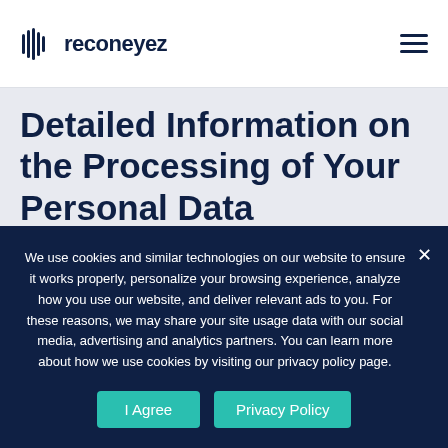reconeyez
Detailed Information on the Processing of Your Personal Data
Service Providers have access to Your Personal Data only to perform their tasks on Our behalf.
We use cookies and similar technologies on our website to ensure it works properly, personalize your browsing experience, analyze how you use our website, and deliver relevant ads to you. For these reasons, we may share your site usage data with our social media, advertising and analytics partners. You can learn more about how we use cookies by visiting our privacy policy page.
I Agree
Privacy Policy